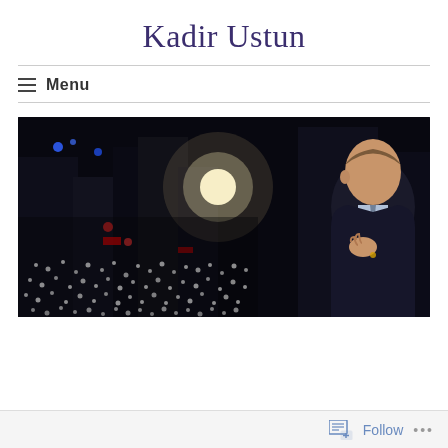Kadir Ustun
Menu
[Figure (photo): Night-time photo of a man in a dark suit with hand on chest, standing before a large crowd holding lit phone screens, with city buildings and bright lights in the background.]
Follow ...